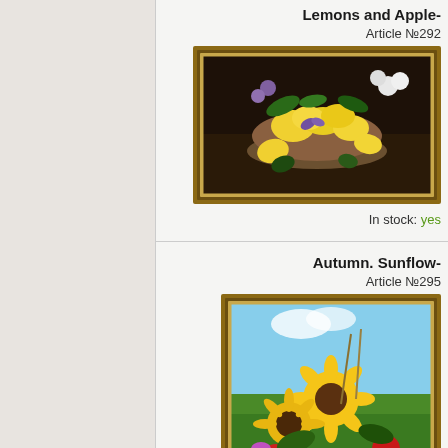Lemons and Apple-
Article №292
[Figure (photo): Framed bead embroidery artwork showing a bowl of lemons with flowers and butterflies on a dark background]
In stock: yes
Autumn. Sunflow-
Article №295
[Figure (photo): Framed bead embroidery artwork showing sunflowers, red flowers, and colorful birds in an autumn garden against a blue sky]
In stock: yes